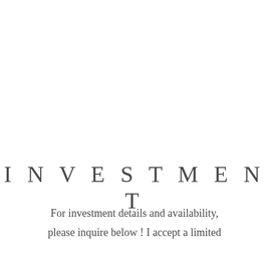INVESTMENT
For investment details and availability, please inquire below ! I accept a limited